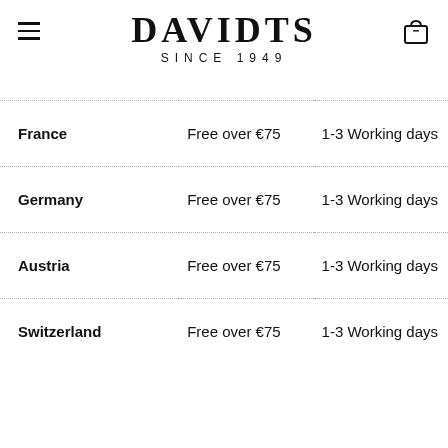DAVIDTS SINCE 1949
| Country | Price | Delivery |
| --- | --- | --- |
| France | Free over €75 | 1-3 Working days |
| Germany | Free over €75 | 1-3 Working days |
| Austria | Free over €75 | 1-3 Working days |
| Switzerland | Free over €75 | 1-3 Working days |